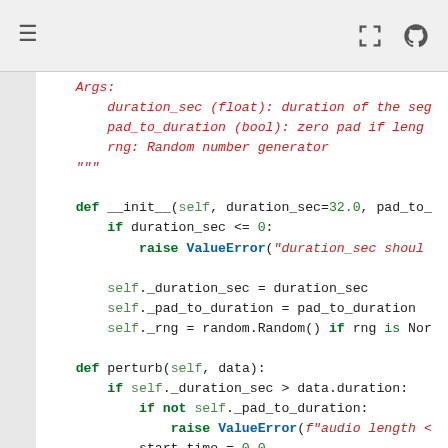≡  [fullscreen] [github]
Args:
        duration_sec (float): duration of the seg
        pad_to_duration (bool): zero pad if leng
        rng: Random number generator
    """

    def __init__(self, duration_sec=32.0, pad_to
        if duration_sec <= 0:
            raise ValueError("duration_sec shoul

        self._duration_sec = duration_sec
        self._pad_to_duration = pad_to_duration
        self._rng = random.Random() if rng is No

    def perturb(self, data):
        if self._duration_sec > data.duration:
            if not self._pad_to_duration:
                raise ValueError(f"audio length 
            start_time = 0.0
            pad_size = self._duration_sec * data
            data.pad(pad_size=pad_size)
        else:
            start_time = self._rng.uniform(0.0,